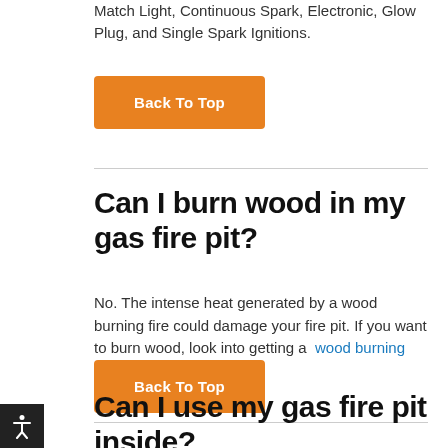Match Light, Continuous Spark, Electronic, Glow Plug, and Single Spark Ignitions.
Back To Top
Can I burn wood in my gas fire pit?
No. The intense heat generated by a wood burning fire could damage your fire pit. If you want to burn wood, look into getting a wood burning fire pit .
Back To Top
Can I use my gas fire pit inside?